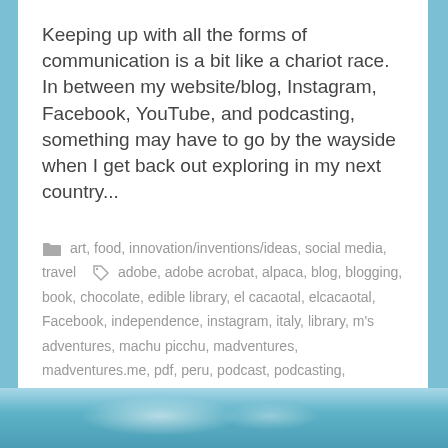Keeping up with all the forms of communication is a bit like a chariot race. In between my website/blog, Instagram, Facebook, YouTube, and podcasting, something may have to go by the wayside when I get back out exploring in my next country...
art, food, innovation/inventions/ideas, social media, travel   adobe, adobe acrobat, alpaca, blog, blogging, book, chocolate, edible library, el cacaotal, elcacaotal, Facebook, independence, instagram, italy, library, m's adventures, machu picchu, madventures, madventures.me, pdf, peru, podcast, podcasting, publishing, roma, rome, self-publishing, social media, vanity press, youtube   1 Comment